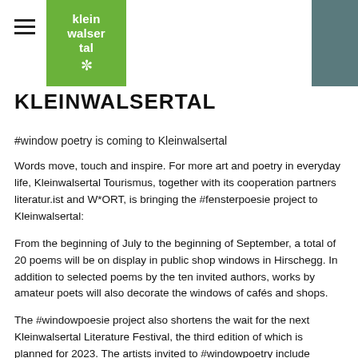kleinwalsertal (logo)
KLEINWALSERTAL
#window poetry is coming to Kleinwalsertal
Words move, touch and inspire. For more art and poetry in everyday life, Kleinwalsertal Tourismus, together with its cooperation partners literatur.ist and W*ORT, is bringing the #fensterpoesie project to Kleinwalsertal:
From the beginning of July to the beginning of September, a total of 20 poems will be on display in public shop windows in Hirschegg. In addition to selected poems by the ten invited authors, works by amateur poets will also decorate the windows of cafés and shops.
The #windowpoesie project also shortens the wait for the next Kleinwalsertal Literature Festival, the third edition of which is planned for 2023. The artists invited to #windowpoetry include Michael Stavarič and Christian Futscher. But poems by artists from the region